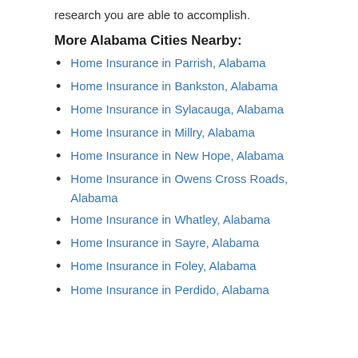research you are able to accomplish.
More Alabama Cities Nearby:
Home Insurance in Parrish, Alabama
Home Insurance in Bankston, Alabama
Home Insurance in Sylacauga, Alabama
Home Insurance in Millry, Alabama
Home Insurance in New Hope, Alabama
Home Insurance in Owens Cross Roads, Alabama
Home Insurance in Whatley, Alabama
Home Insurance in Sayre, Alabama
Home Insurance in Foley, Alabama
Home Insurance in Perdido, Alabama